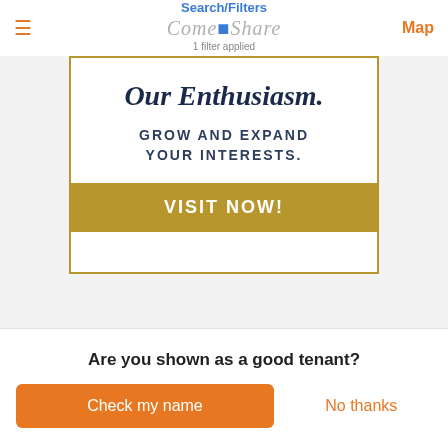☰  Search/Filters  ComeShare  1 filter applied  Map
[Figure (infographic): Advertisement box with gold border. Contains italic bold serif heading 'Our Enthusiasm.', subtitle text 'GROW AND EXPAND YOUR INTERESTS.', a gold 'VISIT NOW!' call-to-action button, and a blank white footer area.]
[Figure (illustration): Orange house/roof icon partially visible at the bottom of the main content area]
Are you shown as a good tenant?
Check my name  No thanks